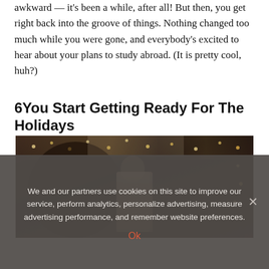awkward — it's been a while, after all! But then, you get right back into the groove of things. Nothing changed too much while you were gone, and everybody's excited to hear about your plans to study abroad. (It is pretty cool, huh?)
6You Start Getting Ready For The Holidays
[Figure (photo): A person in a white jersey working near a decorated Christmas tree with string lights in a dimly lit room]
We and our partners use cookies on this site to improve our service, perform analytics, personalize advertising, measure advertising performance, and remember website preferences.
Ok